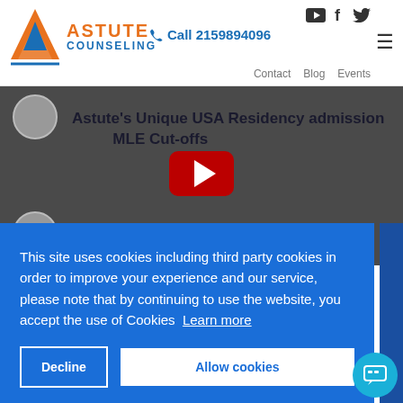[Figure (logo): Astute Counseling logo with orange triangle/arrow symbol]
ASTUTE COUNSELING
Call 2159894096
Contact  Blog  Events
[Figure (screenshot): Video thumbnail showing Astute's Unique USA Residency admission and USMLE Cut-offs with YouTube play button]
This site uses cookies including third party cookies in order to improve your experience and our service, please note that by continuing to use the website, you accept the use of Cookies  Learn more
Decline
Allow cookies